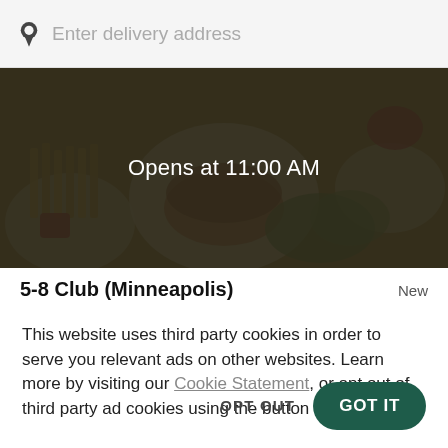Enter delivery address
[Figure (photo): Overhead photo of restaurant food — burgers, fries, salad on white plates with dark overlay showing 'Opens at 11:00 AM']
5-8 Club (Minneapolis)
New
This website uses third party cookies in order to serve you relevant ads on other websites. Learn more by visiting our Cookie Statement, or opt out of third party ad cookies using the button below.
OPT OUT
GOT IT